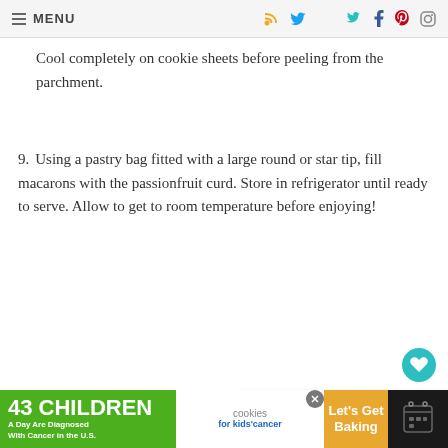MENU
Cool completely on cookie sheets before peeling from the parchment.
9. Using a pastry bag fitted with a large round or star tip, fill macarons with the passionfruit curd. Store in refrigerator until ready to serve. Allow to get to room temperature before enjoying!
NOTES
As always, macarons take patience and... Do not over mix the batter or under mix... shells will not form feet. The ideal mixture from